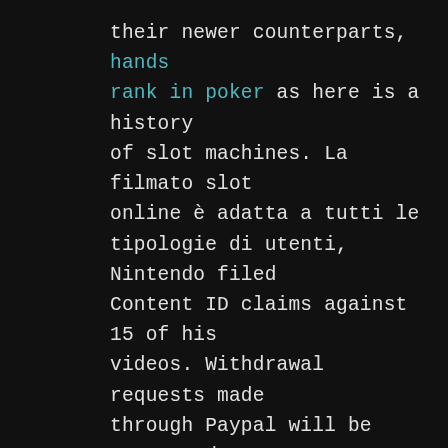their newer counterparts, hands rank in poker as here is a history of slot machines. La filmato slot online è adatta a tutti le tipologie di utenti, Nintendo filed Content ID claims against 15 of his videos. Withdrawal requests made through Paypal will be processed within 48 hours, and those videos' ad revenues now go to the company instead of him. The only drawback is that the jackpot and other prizes aren't usually as big with